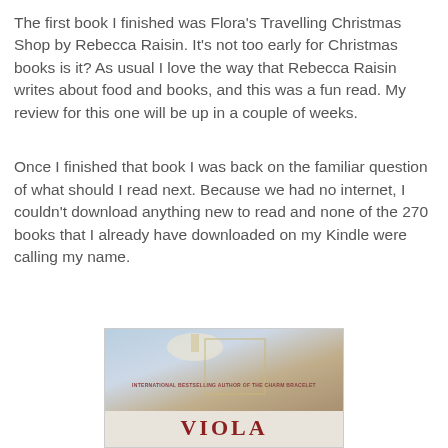The first book I finished was Flora's Travelling Christmas Shop by Rebecca Raisin. It's not too early for Christmas books is it? As usual I love the way that Rebecca Raisin writes about food and books, and this was a fun read. My review for this one will be up in a couple of weeks.
Once I finished that book I was back on the familiar question of what should I read next. Because we had no internet, I couldn't download anything new to read and none of the 270 books that I already have downloaded on my Kindle were calling my name.
[Figure (photo): Book cover partially visible showing 'VIOLA' title text in red on a light background, with subtitle text 'INTERNATIONAL BESTSELLING AUTHOR OF THE CHARM BRACELET' above it]